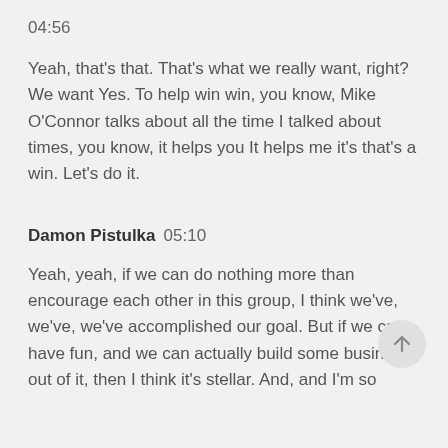04:56
Yeah, that's that. That's what we really want, right? We want Yes. To help win win, you know, Mike O'Connor talks about all the time I talked about times, you know, it helps you It helps me it's that's a win. Let's do it.
Damon Pistulka  05:10
Yeah, yeah, if we can do nothing more than encourage each other in this group, I think we've, we've, we've accomplished our goal. But if we can have fun, and we can actually build some business out of it, then I think it's stellar. And, and I'm so